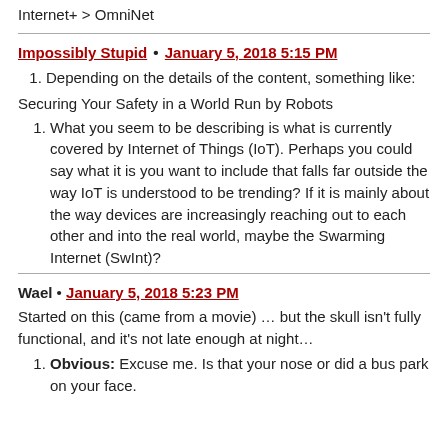Internet+ > OmniNet
Impossibly Stupid • January 5, 2018 5:15 PM
Depending on the details of the content, something like:
Securing Your Safety in a World Run by Robots
What you seem to be describing is what is currently covered by Internet of Things (IoT). Perhaps you could say what it is you want to include that falls far outside the way IoT is understood to be trending? If it is mainly about the way devices are increasingly reaching out to each other and into the real world, maybe the Swarming Internet (SwInt)?
Wael • January 5, 2018 5:23 PM
Started on this (came from a movie) … but the skull isn't fully functional, and it's not late enough at night…
Obvious: Excuse me. Is that your nose or did a bus park on your face.